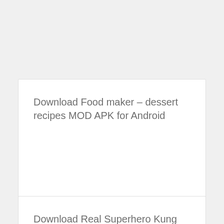Download Food maker – dessert recipes MOD APK for Android
Download Real Superhero Kung Fu Fight